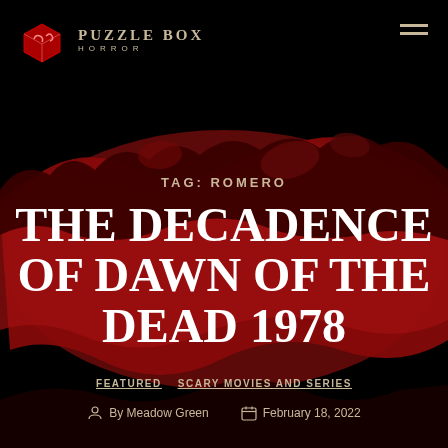Puzzle Box Horror
TAG: ROMERO
THE DECADENCE OF DAWN OF THE DEAD 1978
FEATURED  SCARY MOVIES AND SERIES
By Meadow Green  February 18, 2022